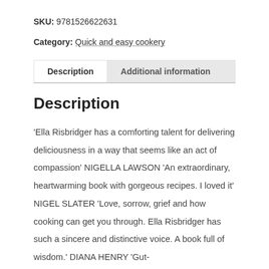SKU: 9781526622631
Category: Quick and easy cookery
Description
Additional information
Description
'Ella Risbridger has a comforting talent for delivering deliciousness in a way that seems like an act of compassion' NIGELLA LAWSON 'An extraordinary, heartwarming book with gorgeous recipes. I loved it' NIGEL SLATER 'Love, sorrow, grief and how cooking can get you through. Ella Risbridger has such a sincere and distinctive voice. A book full of wisdom.' DIANA HENRY 'Gut-